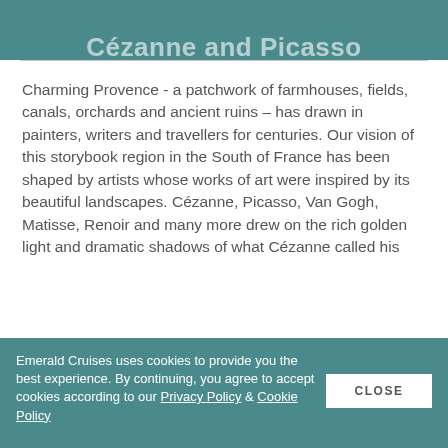CRUISES
Cézanne and Picasso
Charming Provence - a patchwork of farmhouses, fields, canals, orchards and ancient ruins – has drawn in painters, writers and travellers for centuries. Our vision of this storybook region in the South of France has been shaped by artists whose works of art were inspired by its beautiful landscapes. Cézanne, Picasso, Van Gogh, Matisse, Renoir and many more drew on the rich golden light and dramatic shadows of what Cézanne called his
Emerald Cruises uses cookies to provide you the best experience. By continuing, you agree to accept cookies according to our Privacy Policy & Cookie Policy